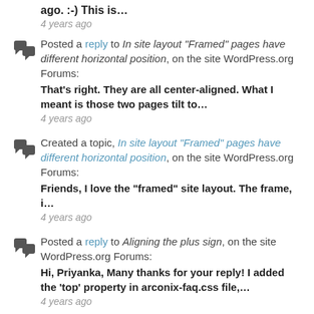ago. :-) This is…
4 years ago
Posted a reply to In site layout "Framed" pages have different horizontal position, on the site WordPress.org Forums: That's right. They are all center-aligned. What I meant is those two pages tilt to…
4 years ago
Created a topic, In site layout "Framed" pages have different horizontal position, on the site WordPress.org Forums: Friends, I love the "framed" site layout. The frame, i…
4 years ago
Posted a reply to Aligning the plus sign, on the site WordPress.org Forums: Hi, Priyanka, Many thanks for your reply! I added the 'top' property in arconix-faq.css file,...
4 years ago
Posted a reply to 'Leave a reply' comments form title font size, on the site WordPress.org Forums: Brilliant, it worked! You guys are amazing. Million thanks! p.s. And, you're right, I'm using…